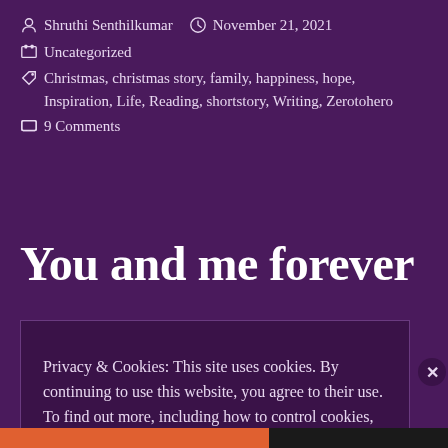Shruthi Senthilkumar  November 21, 2021
Uncategorized
Christmas, christmas story, family, happiness, hope, Inspiration, Life, Reading, shortstory, Writing, Zerotohero
9 Comments
You and me forever
Privacy & Cookies: This site uses cookies. By continuing to use this website, you agree to their use. To find out more, including how to control cookies, see here: Cookie Policy
Close and accept